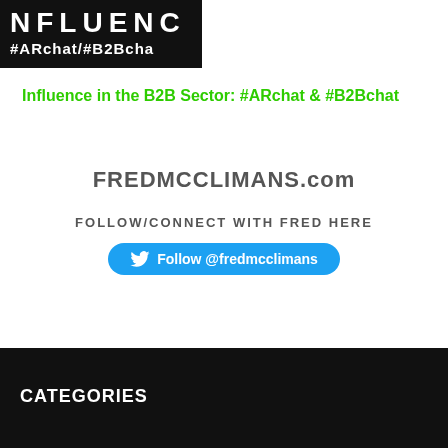[Figure (other): Black banner with bold white text showing partial word 'NFLUENC' and '#ARchat/#B2Bcha']
Influence in the B2B Sector: #ARchat & #B2Bchat
FREDMCCLIMANS.com
FOLLOW/CONNECT WITH FRED HERE
Follow @fredmcclimans
CATEGORIES